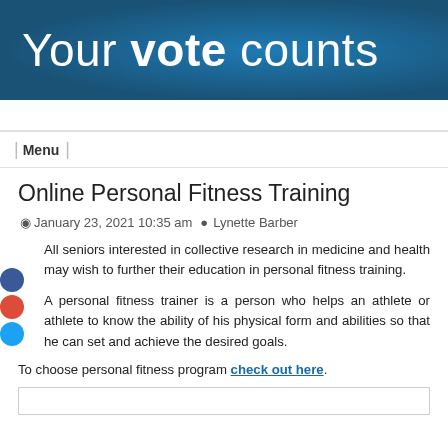Your vote counts
Menu
Online Personal Fitness Training
January 23, 2021 10:35 am  Lynette Barber
All seniors interested in collective research in medicine and health may wish to further their education in personal fitness training.
A personal fitness trainer is a person who helps an athlete or athlete to know the ability of his physical form and abilities so that he can set and achieve the desired goals.
To choose personal fitness program check out here.